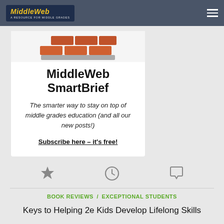MiddleWeb
[Figure (illustration): MiddleWeb SmartBrief promotional card with brick/book graphic at top, title, tagline, and subscribe link]
MiddleWeb SmartBrief
The smarter way to stay on top of middle grades education (and all our new posts!)
Subscribe here – it's free!
BOOK REVIEWS / EXCEPTIONAL STUDENTS
Keys to Helping 2e Kids Develop Lifelong Skills